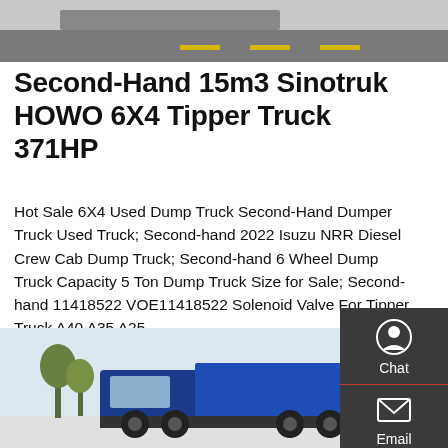[Figure (photo): Top portion of a road/pavement with yellow lane markings, partial vehicle visible]
Second-Hand 15m3 Sinotruk HOWO 6X4 Tipper Truck 371HP
Hot Sale 6X4 Used Dump Truck Second-Hand Dumper Truck Used Truck; Second-hand 2022 Isuzu NRR Diesel Crew Cab Dump Truck; Second-hand 6 Wheel Dump Truck Capacity 5 Ton Dump Truck Size for Sale; Second-hand 11418522 VOE11418522 Solenoid Valve For Tipper Truck A40 A35 A25
[Figure (other): Sidebar UI element with Chat, Email, and Contact icons on dark background]
GET A QUOTE
[Figure (photo): Blue Sinotruk HOWO tipper/dump truck parked outdoors with trees in background]